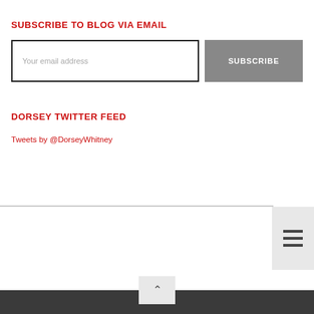SUBSCRIBE TO BLOG VIA EMAIL
[Figure (screenshot): Email subscription form with text input box labeled 'Your email address' and a gray SUBSCRIBE button]
DORSEY TWITTER FEED
Tweets by @DorseyWhitney
[Figure (screenshot): Bottom navigation bar with hamburger menu icon on the right side]
Dark footer bar with scroll-to-top chevron button